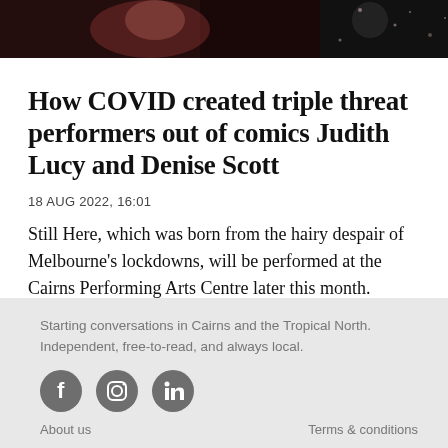[Figure (photo): Partial photo of performers, showing a person in dark sparkly/sequined clothing, cropped to just the top portion of the page.]
How COVID created triple threat performers out of comics Judith Lucy and Denise Scott
18 AUG 2022, 16:01
Still Here, which was born from the hairy despair of Melbourne's lockdowns, will be performed at the Cairns Performing Arts Centre later this month.
> MORE
Starting conversations in Cairns and the Tropical North. Independent, free-to-read, and always local.
[Figure (illustration): Social media icons: Facebook, Instagram, LinkedIn]
About us
Terms & conditions